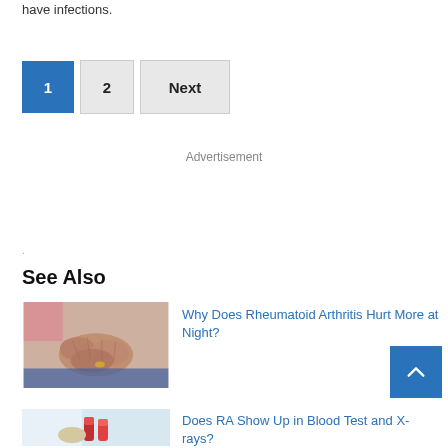have infections.
1  2  Next
Advertisement
.
See Also
[Figure (photo): Close-up of elderly person's hands with a ring, resting on blue fabric]
Why Does Rheumatoid Arthritis Hurt More at Night?
[Figure (photo): Person holding blood test tubes]
Does RA Show Up in Blood Test and X-rays?